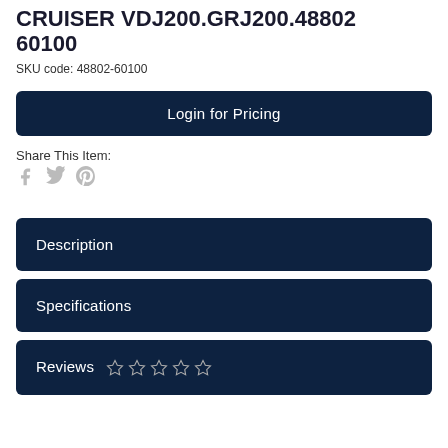CRUISER VDJ200.GRJ200.48802 60100
SKU code: 48802-60100
Login for Pricing
Share This Item:
Description
Specifications
Reviews ☆ ☆ ☆ ☆ ☆